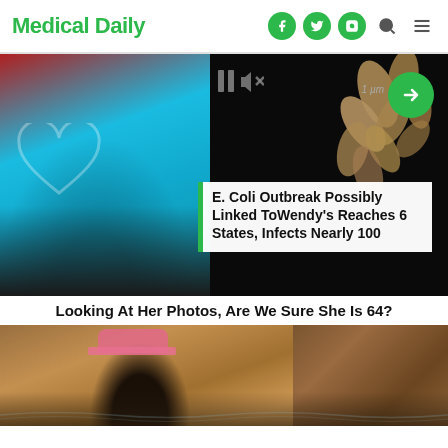Medical Daily
[Figure (screenshot): Medical Daily website screenshot showing a composite hero image with a blue-tinted portrait on the left, a dark bacteria microscopy image on the right, video playback controls, a green arrow button, and a news overlay card]
E. Coli Outbreak Possibly Linked ToWendy's Reaches 6 States, Infects Nearly 100
Looking At Her Photos, Are We Sure She Is 64?
[Figure (photo): Woman wearing a pink cap, lying near water in a rocky canyon setting]